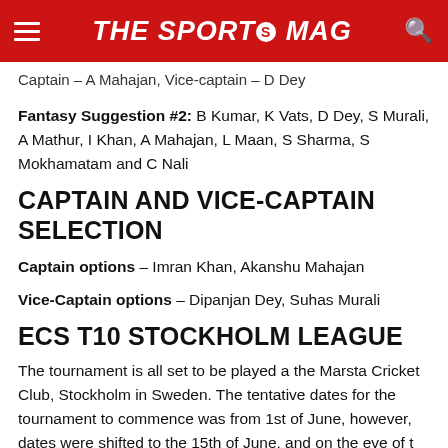THE SPORTS MAG
Captain – A Mahajan, Vice-captain – D Dey
Fantasy Suggestion #2: B Kumar, K Vats, D Dey, S Murali, A Mathur, I Khan, A Mahajan, L Maan, S Sharma, S Mokhamatam and C Nali
CAPTAIN AND VICE-CAPTAIN SELECTION
Captain options – Imran Khan, Akanshu Mahajan
Vice-Captain options – Dipanjan Dey, Suhas Murali
ECS T10 STOCKHOLM LEAGUE
The tournament is all set to be played a the Marsta Cricket Club, Stockholm in Sweden. The tentative dates for the tournament to commence was from 1st of June, however, dates were shifted to the 15th of June, and on the eve of t